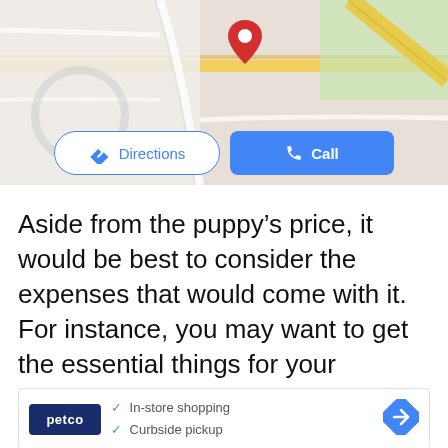[Figure (screenshot): Google Maps screenshot showing a map with a red location pin and two buttons: 'Directions' (white with blue border and diamond arrow icon) and 'Call' (blue button with phone icon)]
Aside from the puppy's price, it would be best to consider the expenses that would come with it. For instance, you may want to get the essential things for your puppies like grooming tools, food, and shelter.
[Figure (screenshot): Petco advertisement card showing Petco logo, checkmarks for 'In-store shopping' and 'Curbside pickup', and a blue navigation arrow icon]